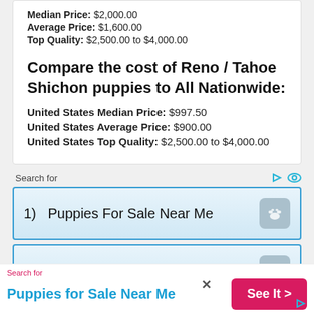Median Price: $2,000.00
Average Price: $1,600.00
Top Quality: $2,500.00 to $4,000.00
Compare the cost of Reno / Tahoe Shichon puppies to All Nationwide:
United States Median Price: $997.50
United States Average Price: $900.00
United States Top Quality: $2,500.00 to $4,000.00
Search for
1)  Puppies For Sale Near Me
2)  Small Dog Breeds For Sale
Search for
Puppies for Sale Near Me
See It >